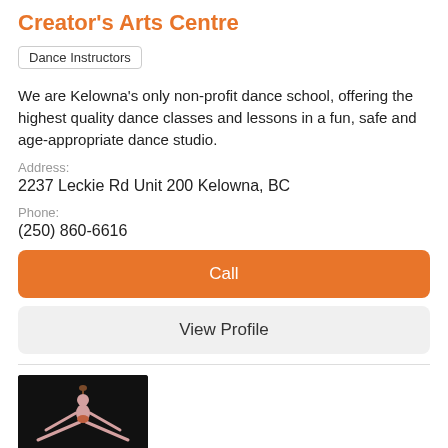Creator's Arts Centre
Dance Instructors
We are Kelowna's only non-profit dance school, offering the highest quality dance classes and lessons in a fun, safe and age-appropriate dance studio.
Address:
2237 Leckie Rd Unit 200 Kelowna, BC
Phone:
(250) 860-6616
Call
View Profile
[Figure (photo): Dancer performing a splits jump on a dark stage]
Dream Dance Club Kelowna